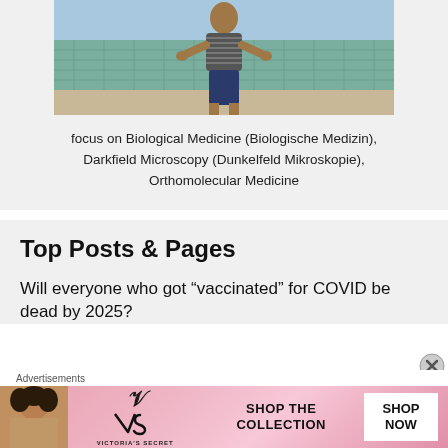[Figure (photo): Person standing outdoors in athletic wear (striped top, dark shorts) with hands on hips, in front of a tiled wall and outdoor setting]
focus on Biological Medicine (Biologische Medizin), Darkfield Microscopy (Dunkelfeld Mikroskopie), Orthomolecular Medicine
Top Posts & Pages
Will everyone who got “vaccinated” for COVID be dead by 2025?
Advertisements
[Figure (photo): Victoria's Secret advertisement banner with a woman, the VS logo, text SHOP THE COLLECTION, and a SHOP NOW button]